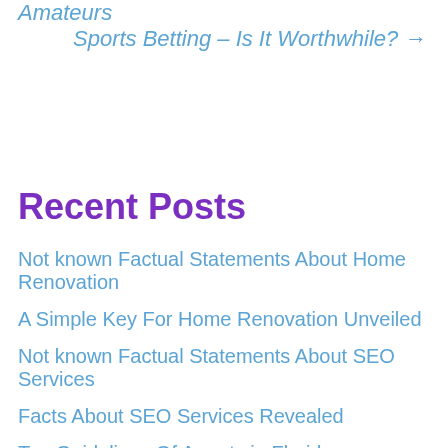Amateurs
Sports Betting – Is It Worthwhile? →
Recent Posts
Not known Factual Statements About Home Renovation
A Simple Key For Home Renovation Unveiled
Not known Factual Statements About SEO Services
Facts About SEO Services Revealed
Top Guidelines Of Arrests in Florida
Categories
Uncategorized
Contact Us
Stucco